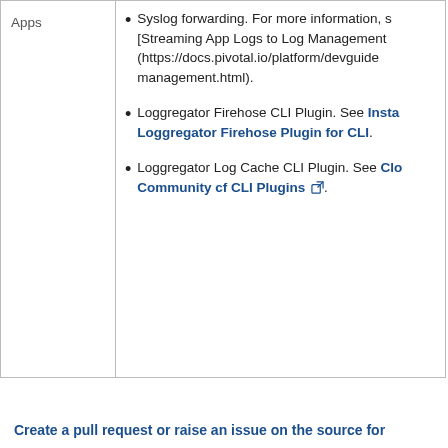|  |  |
| --- | --- |
| Apps | • Syslog forwarding. For more information, see [Streaming App Logs to Log Management] (https://docs.pivotal.io/platform/devguide/management.html).
• Loggregator Firehose CLI Plugin. See Installing the Loggregator Firehose Plugin for CLI.
• Loggregator Log Cache CLI Plugin. See Cloud Foundry Community cf CLI Plugins. |
Create a pull request or raise an issue on the source for